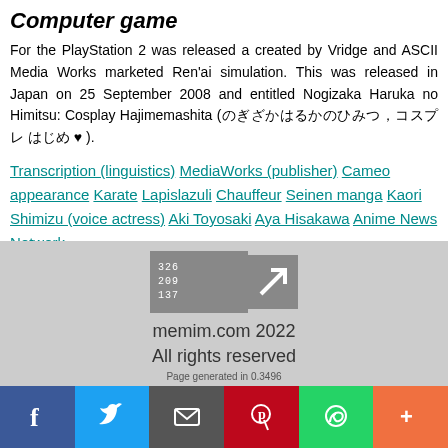Computer game
For the PlayStation 2 was released a created by Vridge and ASCII Media Works marketed Ren'ai simulation. This was released in Japan on 25 September 2008 and entitled Nogizaka Haruka no Himitsu: Cosplay Hajimemashita (のぎざかはるかのひみつ,コスプレ はじめ ♥).
Transcription (linguistics) MediaWorks (publisher) Cameo appearance Karate Lapislazuli Chauffeur Seinen manga Kaori Shimizu (voice actress) Aki Toyosaki Aya Hisakawa Anime News Network
607342
memim.com 2022
All rights reserved
Page generated in 0.3496